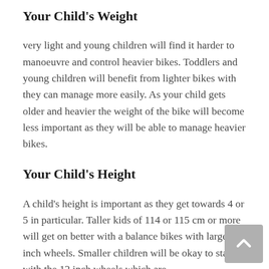Your Child's Weight
very light and young children will find it harder to manoeuvre and control heavier bikes. Toddlers and young children will benefit from lighter bikes with they can manage more easily. As your child gets older and heavier the weight of the bike will become less important as they will be able to manage heavier bikes.
Your Child's Height
A child's height is important as they get towards 4 or 5 in particular. Taller kids of 114 or 115 cm or more will get on better with a balance bikes with larger 16 inch wheels. Smaller children will be okay to stay with the 12 inch wheels which are